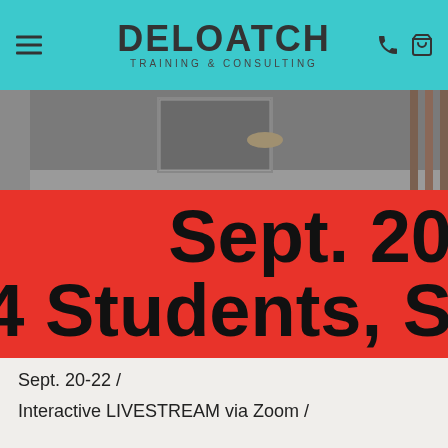DELOATCH TRAINING & CONSULTING
[Figure (photo): Interior living room/lounge area with modern furniture, sofas, and chairs on a marble floor, shot from above at an angle. A red banner overlays the lower portion of the image with text 'Sept. 20' and '4 Students, S...']
Sept. 20-22 /
Interactive LIVESTREAM via Zoom /